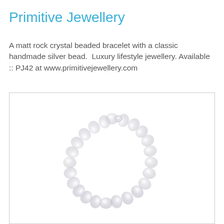Primitive Jewellery
A matt rock crystal beaded bracelet with a classic handmade silver bead.  Luxury lifestyle jewellery. Available :: PJ42 at www.primitivejewellery.com
[Figure (photo): A matt rock crystal beaded bracelet arranged in a circular loop on a white background, photographed from above. The beads are translucent frosted white/clear with a subtle sheen.]